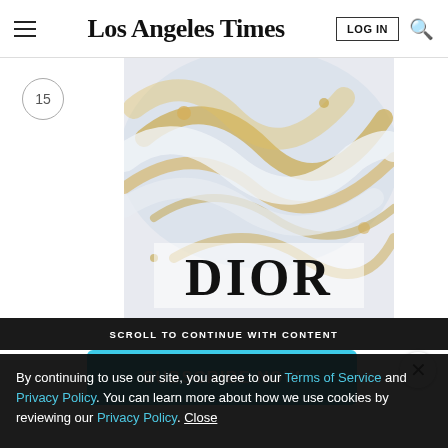Los Angeles Times
[Figure (advertisement): Dior advertisement showing swirling white and gold liquid texture with DIOR text in large serif font at the bottom]
SCROLL TO CONTINUE WITH CONTENT
SUBSCRIBE NOW
By continuing to use our site, you agree to our Terms of Service and Privacy Policy. You can learn more about how we use cookies by reviewing our Privacy Policy. Close